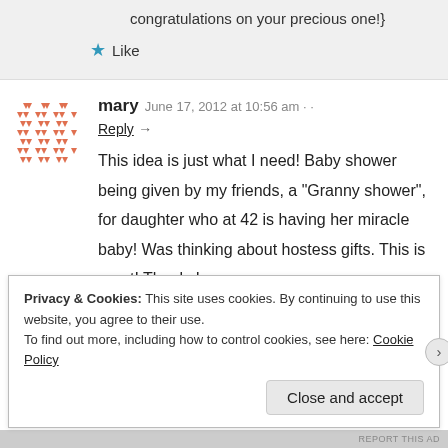congratulations on your precious one!}
★ Like
mary   June 17, 2012 at 10:56 am · ·
Reply →
This idea is just what I need! Baby shower being given by my friends, a "Granny shower", for daughter who at 42 is having her miracle baby! Was thinking about hostess gifts. This is great! Thanks!
Privacy & Cookies: This site uses cookies. By continuing to use this website, you agree to their use.
To find out more, including how to control cookies, see here: Cookie Policy
Close and accept